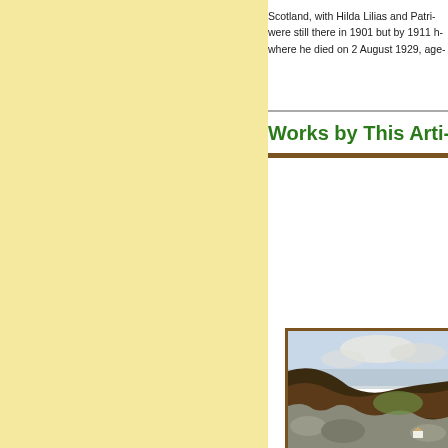Scotland, with Hilda Lilias and Patri… were still there in 1901 but by 1911 h… where he died on 2 August 1929, age…
Works by This Arti…
[Figure (photo): A landscape painting showing rocky hillside with heather, green valleys, and a pale sky with clouds. A small white cottage is visible in the valley.]